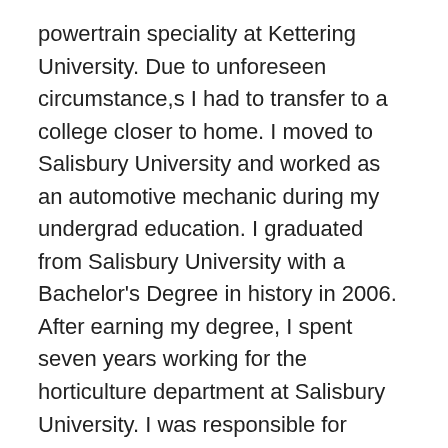powertrain speciality at Kettering University. Due to unforeseen circumstance,s I had to transfer to a college closer to home. I moved to Salisbury University and worked as an automotive mechanic during my undergrad education. I graduated from Salisbury University with a Bachelor's Degree in history in 2006. After earning my degree, I spent seven years working for the horticulture department at Salisbury University. I was responsible for taking care of athletic fields and training college students to work with me. It was in this position that I gained an interest in teaching. I decided to go back to college to pursue a Master's in the Art of Teaching. I graduated with a MAT in 2014. I have been teaching at College Park Academy since.